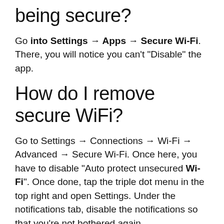being secure?
Go into Settings → Apps → Secure Wi-Fi. There, you will notice you can't "Disable" the app.
How do I remove secure WiFi?
Go to Settings → Connections → Wi-Fi → Advanced → Secure Wi-Fi. Once here, you have to disable "Auto protect unsecured Wi-Fi". Once done, tap the triple dot menu in the top right and open Settings. Under the notifications tab, disable the notifications so that you're not bothered again.
Is Secure Wi-Fi free or S...